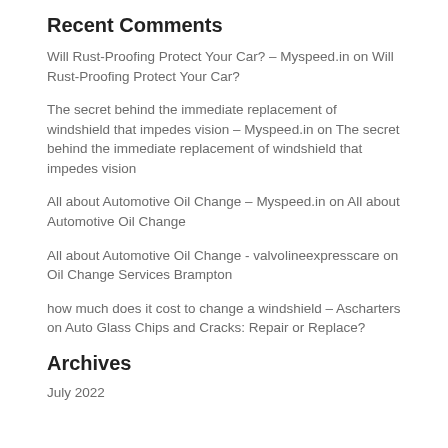Recent Comments
Will Rust-Proofing Protect Your Car? – Myspeed.in on Will Rust-Proofing Protect Your Car?
The secret behind the immediate replacement of windshield that impedes vision – Myspeed.in on The secret behind the immediate replacement of windshield that impedes vision
All about Automotive Oil Change – Myspeed.in on All about Automotive Oil Change
All about Automotive Oil Change - valvolineexpresscare on Oil Change Services Brampton
how much does it cost to change a windshield – Ascharters on Auto Glass Chips and Cracks: Repair or Replace?
Archives
July 2022